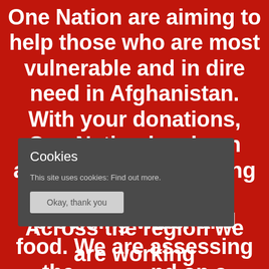One Nation are aiming to help those who are most vulnerable and in dire need in Afghanistan. With your donations, One Nation has been able to provide ongoing support through providing water and food. We are assessing the [situation] nd on a [basis, with] your [donations going t]o those [who need it th]e most.
[Figure (screenshot): Cookie consent overlay dialog with title 'Cookies', body text 'This site uses cookies: Find out more.' and an 'Okay, thank you' button.]
Across the region we are working